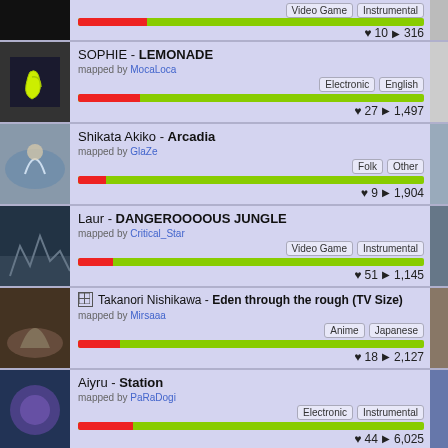SOPHIE - LEMONADE, mapped by MocaLoca, tags: Electronic, English, hearts: 27, plays: 1,497
Shikata Akiko - Arcadia, mapped by GlaZe, tags: Folk, Other, hearts: 9, plays: 1,904
Laur - DANGEROOOOUS JUNGLE, mapped by Critical_Star, tags: Video Game, Instrumental, hearts: 51, plays: 1,145
Takanori Nishikawa - Eden through the rough (TV Size), mapped by Mirsaaa, tags: Anime, Japanese, hearts: 18, plays: 2,127
Aiyru - Station, mapped by PaRaDogi, tags: Electronic, Instrumental, hearts: 44, plays: 6,025
my sound life - LINE, mapped by posydomojka, tags: Rock, Japanese, hearts: 23, plays: 3,133
Hikaru Station - My R (partial)